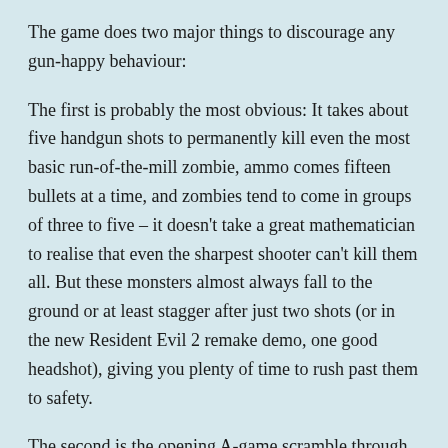The game does two major things to discourage any gun-happy behaviour:
The first is probably the most obvious: It takes about five handgun shots to permanently kill even the most basic run-of-the-mill zombie, ammo comes fifteen bullets at a time, and zombies tend to come in groups of three to five – it doesn't take a great mathematician to realise that even the sharpest shooter can't kill them all. But these monsters almost always fall to the ground or at least stagger after just two shots (or in the new Resident Evil 2 remake demo, one good headshot), giving you plenty of time to rush past them to safety.
The second is the opening A-game scramble through the city streets, hordes of the recently-deceased trying to